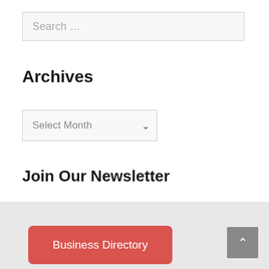Search ...
Archives
Select Month
Join Our Newsletter
Register here
Business Directory